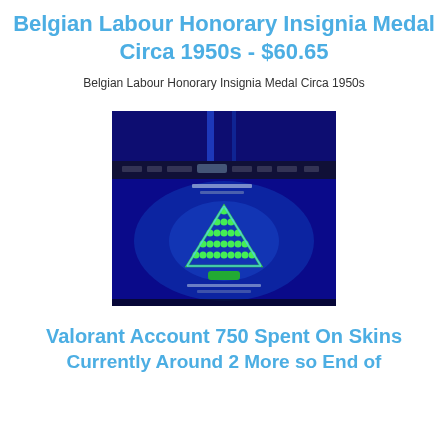Belgian Labour Honorary Insignia Medal Circa 1950s - $60.65
Belgian Labour Honorary Insignia Medal Circa 1950s
[Figure (screenshot): Screenshot of a game interface showing a green triangular insignia/medal on a blue glowing background with UI elements and text overlays.]
Valorant Account 750 Spent On Skins